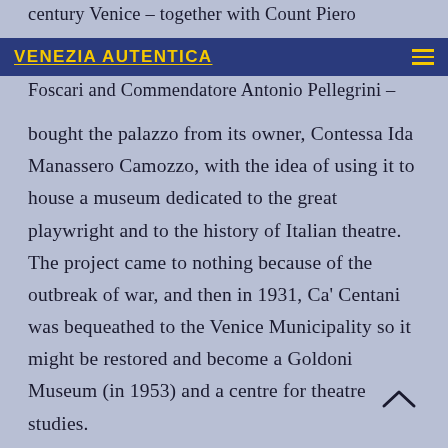century Venice – together with Count Piero Foscari and Commendatore Antonio Pellegrini –
bought the palazzo from its owner, Contessa Ida Manassero Camozzo, with the idea of using it to house a museum dedicated to the great playwright and to the history of Italian theatre. The project came to nothing because of the outbreak of war, and then in 1931, Ca' Centani was bequeathed to the Venice Municipality so it might be restored and become a Goldoni Museum (in 1953) and a centre for theatre studies.